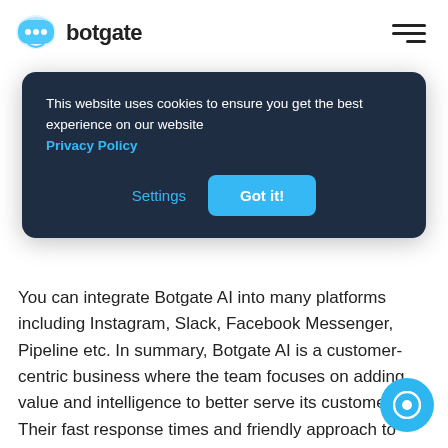[Figure (logo): Botgate AI logo with speech bubble icon and text 'botgate']
This website uses cookies to ensure you get the best experience on our website Privacy Policy
Settings
Got it!
You can integrate Botgate AI into many platforms including Instagram, Slack, Facebook Messenger, Pipeline etc. In summary, Botgate AI is a customer-centric business where the team focuses on adding value and intelligence to better serve its customers. Their fast response times and friendly approach to customer support set them apart from their competitors.
[Figure (other): Blue circular chat support button in bottom right corner]